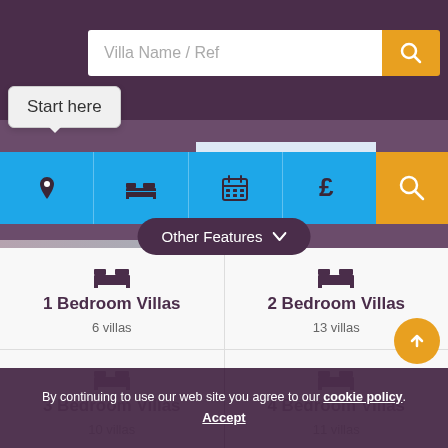[Figure (screenshot): Villa search interface with search bar showing 'Villa Name / Ref' placeholder, orange search button, tooltip 'Start here', blue filter bar with location/bed/calendar/price icons and orange search button, villa title strip, Other Features dropdown button, and grid of villa categories by bedroom count]
Villa Name / Ref
Start here
VILLAS IN CARVOEIRO
Other Features ∨
1 Bedroom Villas
6 villas
2 Bedroom Villas
13 villas
3 Bedroom Villas
10 villas
4 Bedroom Villas
11 villas
5 Bedroom Villas
2 villas
6 Bedroom Villas
1 villas
By continuing to use our web site you agree to our cookie policy. Accept